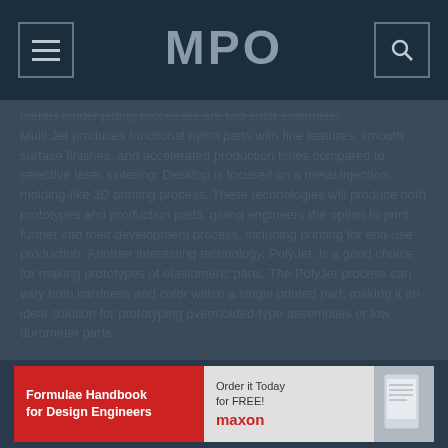MPO
metals binder jetting processes are two such examples. Multi Jet produces functional nylon parts with fine features, smooth surface finishes, and accelerated production times compared to selective laser sintering; Desktop is focused on a metal injection molding-like 3D printing process. These technologies will produce both prototypes and production parts, giving engineers the option to print further into their development process, including printing for end-use production. Another interesting technology, PolyJet, is a good choice for making prototypes of elastomeric parts. The PolyJet process can vary both hardness and color within a single printed part, making it an ideal solution for prototyping overmolded-type assemblies or low-durometer parts.
[Figure (other): Advertisement for Formulae Handbook for Design Engineers by maxon - Order it Today for FREE!]